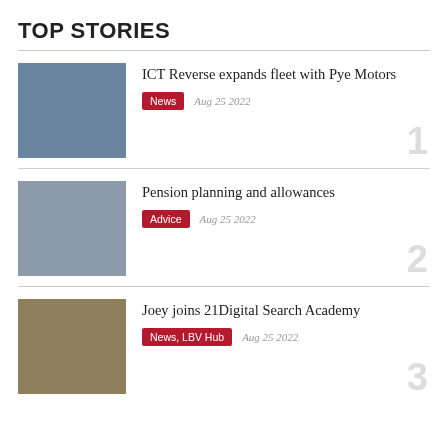TOP STORIES
ICT Reverse expands fleet with Pye Motors | News | Aug 25 2022
Pension planning and allowances | Advice | Aug 25 2022
Joey joins 21Digital Search Academy | News, LBV Hub | Aug 25 2022